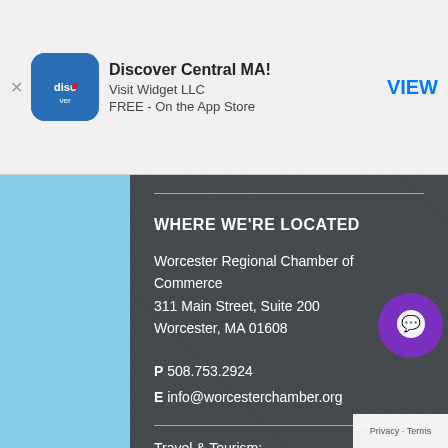[Figure (screenshot): App Store banner showing Discover Central MA app by Visit Widget LLC, FREE on the App Store, with VIEW button]
WHERE WE'RE LOCATED
Worcester Regional Chamber of Commerce
311 Main Street, Suite 200
Worcester, MA 01608
P 508.753.2924
E info@worcesterchamber.org
Travel & Tourism:
[Figure (logo): Discover Central Massachusetts logo with Massachusetts state silhouette in blue and cursive/stylized text]